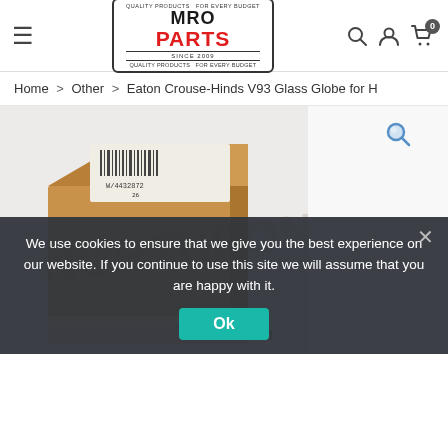[Figure (logo): MRO PARTS SINCE 2009 logo in a rounded rectangle border]
Navigation header with hamburger menu, MRO Parts logo, search icon, user icon, cart icon with badge 0
Home > Other > Eaton Crouse-Hinds V93 Glass Globe for H
[Figure (photo): Product photo of a cardboard box with a white label/barcode on top, shown against a light gray background. MRO Parts watermark visible on the image.]
We use cookies to ensure that we give you the best experience on our website. If you continue to use this site we will assume that you are happy with it.
Ok
Add to cart